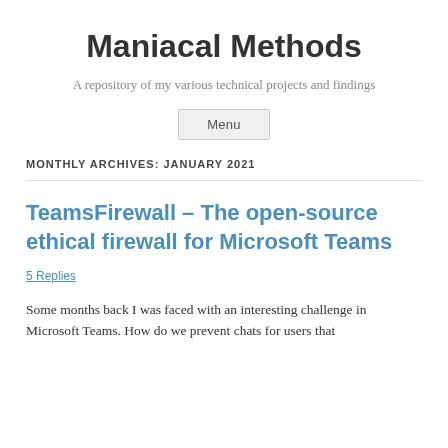Maniacal Methods
A repository of my various technical projects and findings
Menu
MONTHLY ARCHIVES: JANUARY 2021
TeamsFirewall – The open-source ethical firewall for Microsoft Teams
5 Replies
Some months back I was faced with an interesting challenge in Microsoft Teams. How do we prevent chats for users that